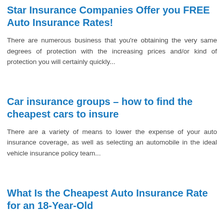Star Insurance Companies Offer you FREE Auto Insurance Rates!
There are numerous business that you're obtaining the very same degrees of protection with the increasing prices and/or kind of protection you will certainly quickly...
Car insurance groups – how to find the cheapest cars to insure
There are a variety of means to lower the expense of your auto insurance coverage, as well as selecting an automobile in the ideal vehicle insurance policy team...
What Is the Cheapest Auto Insurance Rate for an 18-Year-Old